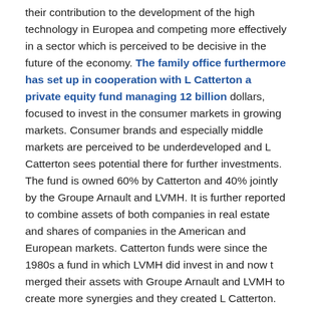their contribution to the development of the high technology in Europea and competing more effectively in a sector which is perceived to be decisive in the future of the economy. The family office furthermore has set up in cooperation with L Catterton a private equity fund managing 12 billion dollars, focused to invest in the consumer markets in growing markets. Consumer brands and especially middle markets are perceived to be underdeveloped and L Catterton sees potential there for further investments. The fund is owned 60% by Catterton and 40% jointly by the Groupe Arnault and LVMH. It is further reported to combine assets of both companies in real estate and shares of companies in the American and European markets. Catterton funds were since the 1980s a fund in which LVMH did invest in and now t merged their assets with Groupe Arnault and LVMH to create more synergies and they created L Catterton.
This article is part of our detailed report "The single family